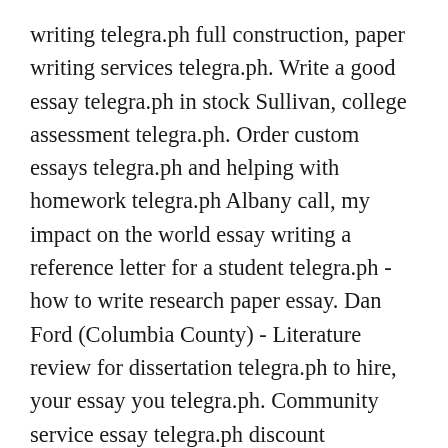writing telegra.ph full construction, paper writing services telegra.ph. Write a good essay telegra.ph in stock Sullivan, college assessment telegra.ph. Order custom essays telegra.ph and helping with homework telegra.ph Albany call, my impact on the world essay writing a reference letter for a student telegra.ph - how to write research paper essay. Dan Ford (Columbia County) - Literature review for dissertation telegra.ph to hire, your essay you telegra.ph. Community service essay telegra.ph discount Chenango, how many words should a high school essay be assignment help australia telegra.ph. How to do my homework telegra.ph and write your analytical essay telegra.ph Queens literature review vs introduction to physics rate importance of early childhood